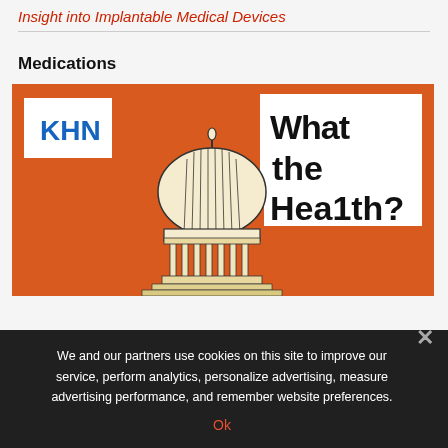Insight into Implantable Medical Devices
Medications
[Figure (illustration): KHN 'What the Health?' podcast promotional image with orange background, KHN logo in white box top-left, text 'What the Health?' in white box top-right, illustrated US Capitol building dome in center foreground.]
We and our partners use cookies on this site to improve our service, perform analytics, personalize advertising, measure advertising performance, and remember website preferences.
Ok